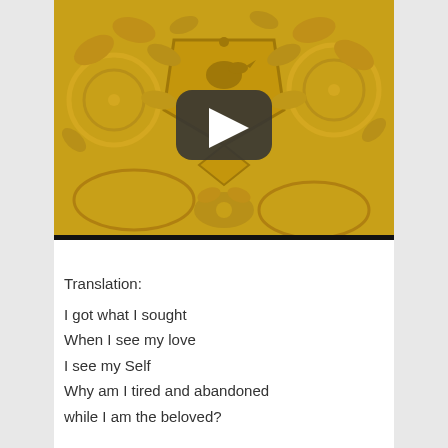[Figure (photo): A yellow carved relief panel with intricate floral and botanical patterns surrounding a central heraldic shield motif. A YouTube play button overlay is visible in the center of the image. A black progress bar is at the bottom.]
Translation:
I got what I sought
When I see my love
I see my Self
Why am I tired and abandoned
while I am the beloved?